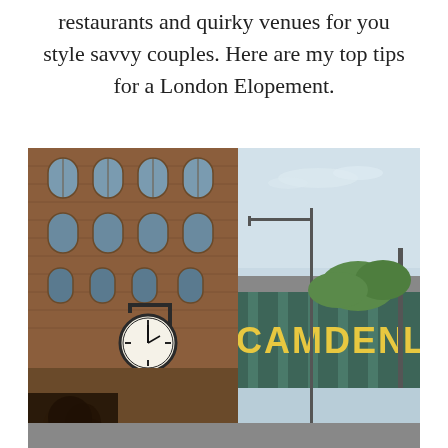restaurants and quirky venues for you style savvy couples. Here are my top tips for a London Elopement.
[Figure (photo): Street-level photograph of Camden Market area in London. Shows a red-brick Victorian warehouse building on the left with arched windows, a large hanging clock on a bracket, a street lamp, lush green trees, and in the background a large green and cream sign reading 'CAMDEN' on what appears to be a railway bridge or large structure. A person with curly dark hair is visible in the lower left foreground. The sky is light blue with thin clouds.]